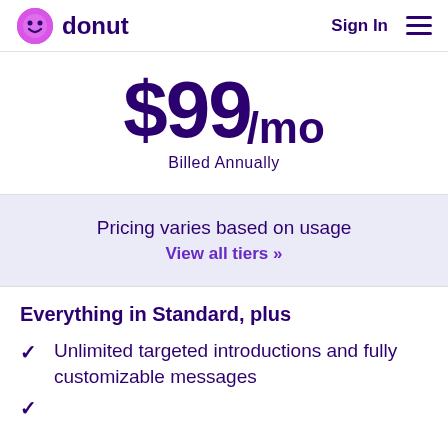donut  Sign In
$99/mo Billed Annually
Pricing varies based on usage
View all tiers »
Everything in Standard, plus
Unlimited targeted introductions and fully customizable messages